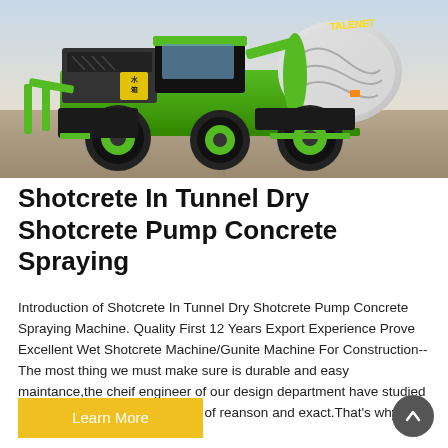[Figure (photo): A green self-loading concrete mixer truck branded TALENET photographed against a concrete floor background. The machine is large with black wheels with green rims, a rotating drum on the back, and a cab with operator controls. Chinese characters visible on the side panel.]
Shotcrete In Tunnel Dry Shotcrete Pump Concrete Spraying
Introduction of Shotcrete In Tunnel Dry Shotcrete Pump Concrete Spraying Machine. Quality First 12 Years Export Experience Prove Excellent Wet Shotcrete Machine/Gunite Machine For Construction--The most thing we must make sure is durable and easy maintance,the cheif engineer of our design department have studied in Germany,so he got the spirit of reanson and exact.That's why our ...